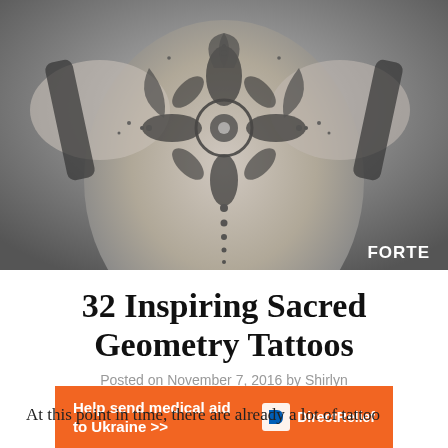[Figure (photo): Black and white photograph of a person's back showing an intricate sacred geometry mandala-style tattoo in the center of the back, with a watermark 'FORTE' in the bottom right corner.]
32 Inspiring Sacred Geometry Tattoos
Posted on November 7, 2016 by Shirlyn
At this point in time, there are already a lot of tattoo
[Figure (infographic): Orange advertisement banner reading 'Help send medical aid to Ukraine >>' with Direct Relief logo on the right.]